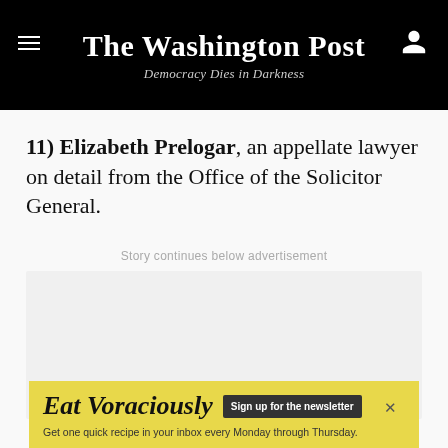The Washington Post — Democracy Dies in Darkness
11) Elizabeth Prelogar, an appellate lawyer on detail from the Office of the Solicitor General.
Story continues below advertisement
[Figure (other): Advertisement placeholder (gray box)]
[Figure (other): Eat Voraciously newsletter sign-up advertisement banner. Text: Eat Voraciously. Sign up for the newsletter. Get one quick recipe in your inbox every Monday through Thursday.]